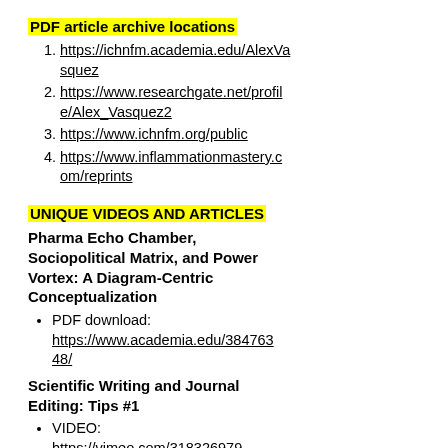PDF article archive locations
https://ichnfm.academia.edu/AlexVasquez
https://www.researchgate.net/profile/Alex_Vasquez2
https://www.ichnfm.org/public
https://www.inflammationmastery.com/reprints
UNIQUE VIDEOS AND ARTICLES
Pharma Echo Chamber, Sociopolitical Matrix, and Power Vortex: A Diagram-Centric Conceptualization
PDF download: https://www.academia.edu/38476348/
Scientific Writing and Journal Editing: Tips #1
VIDEO: https://vimeo.com/318326979
PDF: